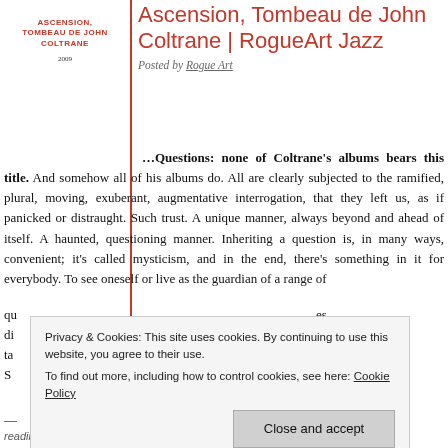[Figure (other): Album cover thumbnail area for Ascension, Tombeau de John Coltrane on RogueArt label, left panel]
Ascension, Tombeau de John Coltrane | RogueArt Jazz
Posted by Rogue Art
…Questions: none of Coltrane's albums bears this title. And somehow all of his albums do. All are clearly subjected to the ramified, plural, moving, exuberant, augmentative interrogation, that they left us, as if panicked or distraught. Such trust. A unique manner, always beyond and ahead of itself. A haunted, questioning manner. Inheriting a question is, in many ways, convenient; it's called mysticism, and in the end, there's something in it for everybody. To see oneself or live as the guardian of a range of q... es di... — ta... or S... ...
Privacy & Cookies: This site uses cookies. By continuing to use this website, you agree to their use. To find out more, including how to control cookies, see here: Cookie Policy
Close and accept
reading…